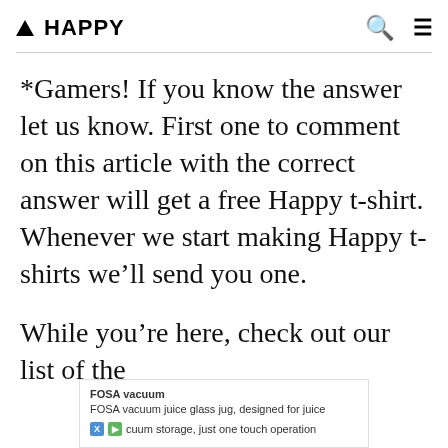▲ HAPPY
*Gamers! If you know the answer let us know. First one to comment on this article with the correct answer will get a free Happy t-shirt. Whenever we start making Happy t-shirts we'll send you one.
While you're here, check out our list of the
[Figure (other): Advertisement banner: FOSA vacuum - FOSA vacuum juice glass jug, designed for juice cuum storage, just one touch operation]